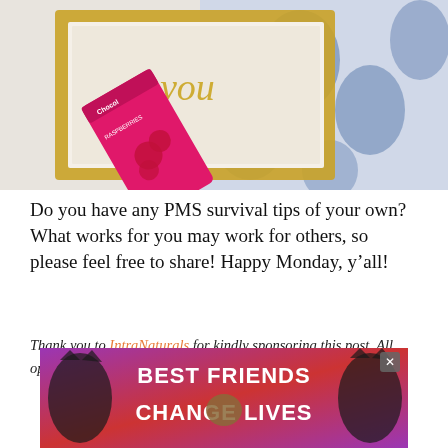[Figure (photo): Photo of a pink chocolate-covered raspberries snack bar leaning against a gold picture frame, on a blue and white patterned fabric background.]
Do you have any PMS survival tips of your own? What works for you may work for others, so please feel free to share! Happy Monday, y’all!
Thank you to IntraNaturals for kindly sponsoring this post. All opinions are 100% honest & completely my own.
[Figure (photo): Advertisement banner: BEST FRIENDS CHANGE LIVES with cat photos on purple/red background.]